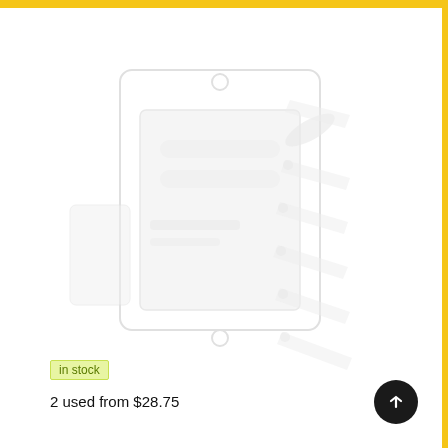[Figure (photo): Product image showing a screen protector kit with applicator tools, displayed on a white background. The image is very faint/washed out. A partial yellow logo icon is visible in the top left corner.]
in stock
2 used from $28.75